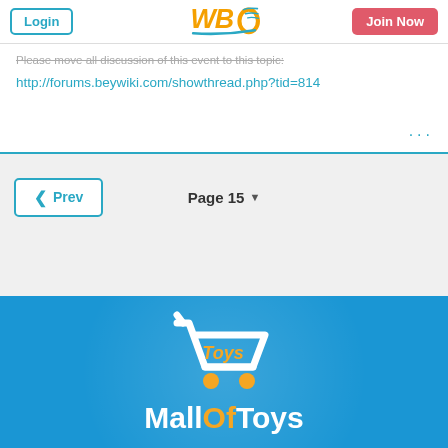Login | WBO | Join Now
http://forums.beywiki.com/showthread.php?tid=814
Prev  Page 15
[Figure (logo): MallOfToys advertisement banner with shopping cart logo and text 'MallOfToys' on blue background]